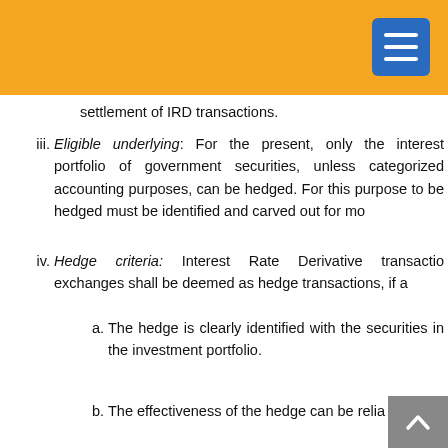settlement of IRD transactions.
iii. Eligible underlying: For the present, only the interest portfolio of government securities, unless categorized accounting purposes, can be hedged. For this purpose to be hedged must be identified and carved out for mo
iv. Hedge criteria: Interest Rate Derivative transactio exchanges shall be deemed as hedge transactions, if a
a. The hedge is clearly identified with the securities in the investment portfolio.
b. The effectiveness of the hedge can be relia
c. The hedge is assessed on an ongoing effective" throughout the period.
v. Hedge Effectiveness : The hedge will be deemed to inception and throughout the life of the hedge. cha market value of the hedged items with reference to th